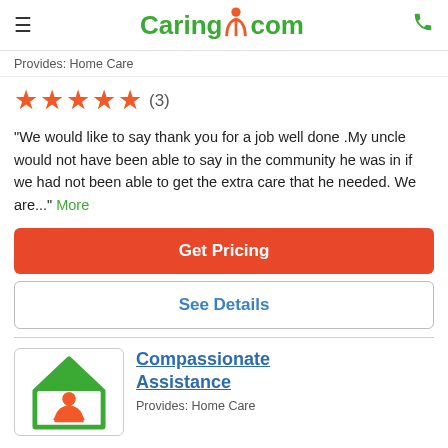Caring.com
Provides: Home Care
[Figure (infographic): Five orange/red star rating icons followed by (3) review count]
"We would like to say thank you for a job well done .My uncle would not have been able to say in the community he was in if we had not been able to get the extra care that he needed. We are..." More
Get Pricing
See Details
[Figure (logo): Compassionate Assistance company logo - green house shape with orange figures inside]
Compassionate Assistance
Provides: Home Care